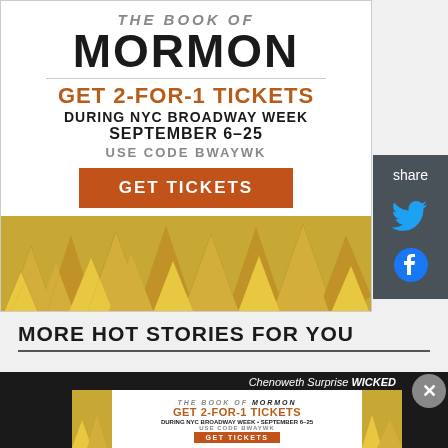[Figure (infographic): The Book of Mormon Broadway show advertisement. Black and white text on white background with gold triangle decorations at the bottom. Text reads: THE BOOK OF MORMON, GET 2-FOR-1 TICKETS, DURING NYC BROADWAY WEEK, SEPTEMBER 6-25, USE CODE BWAYWK, GET TICKETS button in orange.]
[Figure (infographic): Share sidebar with dark gray background containing share label, Twitter bird icon in blue, and Facebook icon in blue.]
MORE HOT STORIES FOR YOU
[Figure (infographic): Bottom popup ad banner for The Book of Mormon. Dark background with white inner ad. Text reads: Chenoweth Surprise WICKED. Inner ad: THE BOOK OF MORMON, GET 2-FOR-1 TICKETS, DURING NYC BROADWAY WEEK • SEPTEMBER 6-25, USE CODE BWAYWK, GET TICKETS. Close button (X) at top right.]